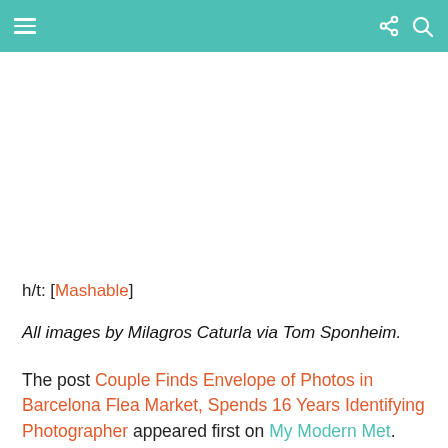≡  [share] [search]
h/t: [Mashable]
All images by Milagros Caturla via Tom Sponheim.
The post Couple Finds Envelope of Photos in Barcelona Flea Market, Spends 16 Years Identifying Photographer appeared first on My Modern Met.